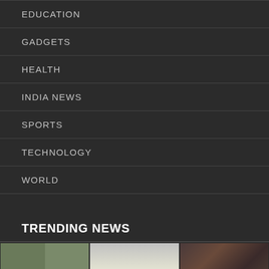EDUCATION
GADGETS
HEALTH
INDIA NEWS
SPORTS
TECHNOLOGY
WORLD
TRENDING NEWS
[Figure (photo): Three trending news thumbnail images in a row: left image shows a collage of crowd/people scenes in a 2x2 grid, middle image shows a cricket player raising bat and helmet in celebration, right image shows two actors/people from what appears to be a Bollywood film]